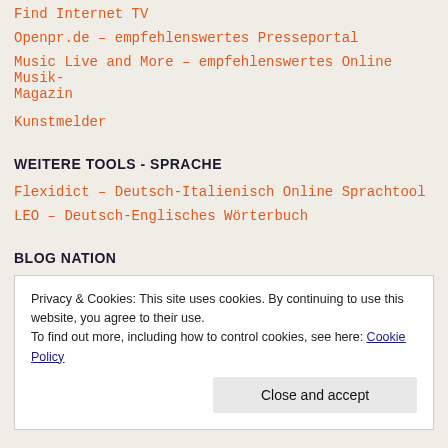Find Internet TV
Openpr.de – empfehlenswertes Presseportal
Music Live and More – empfehlenswertes Online Musik-Magazin
Kunstmelder
WEITERE TOOLS - SPRACHE
Flexidict – Deutsch-Italienisch Online Sprachtool
LEO – Deutsch-Englisches Wörterbuch
BLOG NATION
Privacy & Cookies: This site uses cookies. By continuing to use this website, you agree to their use.
To find out more, including how to control cookies, see here: Cookie Policy
Close and accept